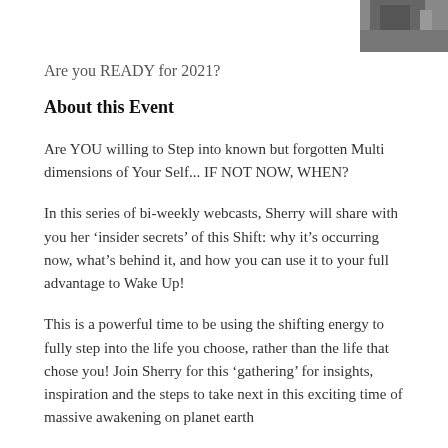[Figure (photo): Partial photo of a person in dark clothing, cropped at top-right corner of the page]
Are you READY for 2021?
About this Event
Are YOU willing to Step into known but forgotten Multi dimensions of Your Self... IF NOT NOW, WHEN?
In this series of bi-weekly webcasts, Sherry will share with you her ‘insider secrets’ of this Shift: why it’s occurring now, what’s behind it, and how you can use it to your full advantage to Wake Up!
This is a powerful time to be using the shifting energy to fully step into the life you choose, rather than the life that chose you! Join Sherry for this ‘gathering’ for insights, inspiration and the steps to take next in this exciting time of massive awakening on planet earth